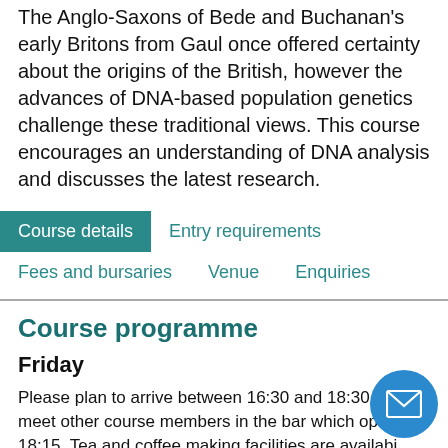The Anglo-Saxons of Bede and Buchanan's early Britons from Gaul once offered certainty about the origins of the British, however the advances of DNA-based population genetics challenge these traditional views. This course encourages an understanding of DNA analysis and discusses the latest research.
Course details | Entry requirements
Fees and bursaries | Venue | Enquiries
Course programme
Friday
Please plan to arrive between 16:30 and 18:30. You can meet other course members in the bar which opens at 18:15. Tea and coffee making facilities are available in the study bedrooms.